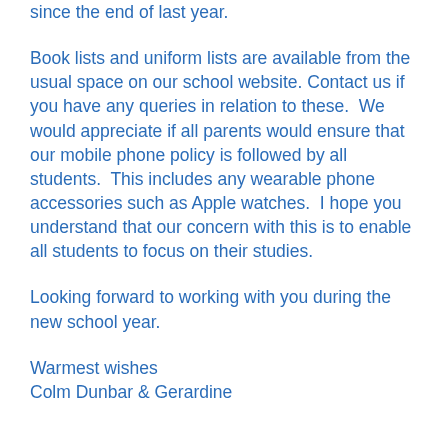since the end of last year.
Book lists and uniform lists are available from the usual space on our school website. Contact us if you have any queries in relation to these. We would appreciate if all parents would ensure that our mobile phone policy is followed by all students. This includes any wearable phone accessories such as Apple watches. I hope you understand that our concern with this is to enable all students to focus on their studies.
Looking forward to working with you during the new school year.
Warmest wishes
Colm Dunbar & Gerardine...